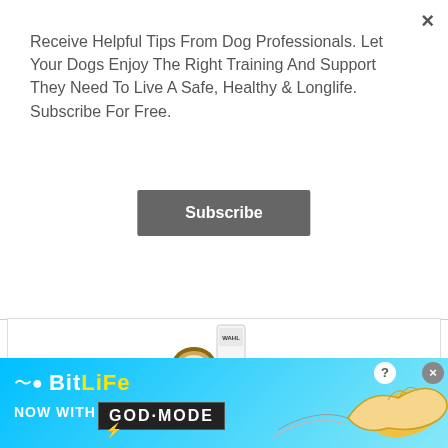Receive Helpful Tips From Dog Professionals. Let Your Dogs Enjoy The Right Training And Support They Need To Live A Safe, Healthy & Longlife. Subscribe For Free.
Subscribe
[Figure (photo): Product image of WAHL shampoo bottle with coconut and lime]
WAHL Dry Skin & Itch Relief Pet Shampoo for Dogs – Oatmeal Formula with Coconut Lime Verbena & 100% Natural Ingredients, 24 Oz
★★★★☆ Prime
🛒 Check Lowest Price Now!
[Figure (infographic): BitLife – Now With GOD MODE advertisement banner with hand pointing illustration]